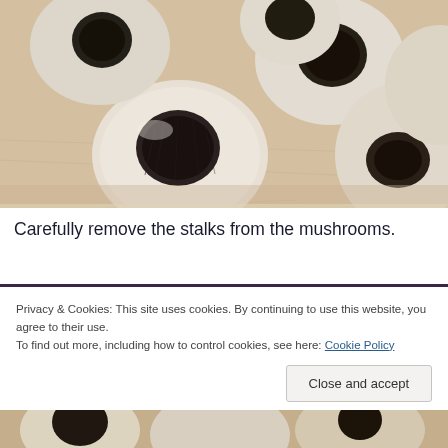[Figure (photo): Close-up photo of several white button mushrooms with their stalks removed, showing dark gills, arranged on a light wooden surface.]
Carefully remove the stalks from the mushrooms.
Privacy & Cookies: This site uses cookies. By continuing to use this website, you agree to their use.
To find out more, including how to control cookies, see here: Cookie Policy
Close and accept
[Figure (photo): Partial view of another mushroom photo at the bottom of the page.]